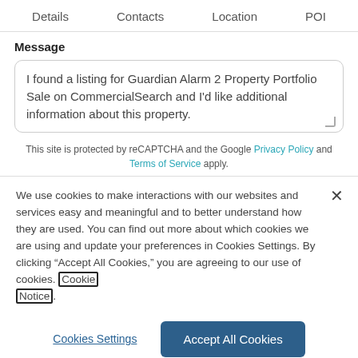Details   Contacts   Location   POI
Message
I found a listing for Guardian Alarm 2 Property Portfolio Sale on CommercialSearch and I'd like additional information about this property.
This site is protected by reCAPTCHA and the Google Privacy Policy and Terms of Service apply.
We use cookies to make interactions with our websites and services easy and meaningful and to better understand how they are used. You can find out more about which cookies we are using and update your preferences in Cookies Settings. By clicking “Accept All Cookies,” you are agreeing to our use of cookies. Cookie Notice.
Cookies Settings
Accept All Cookies